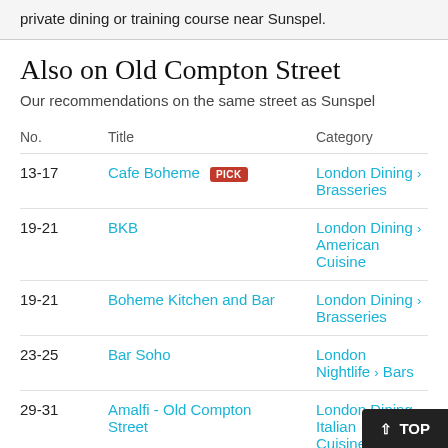private dining or training course near Sunspel.
Also on Old Compton Street
Our recommendations on the same street as Sunspel
| No. | Title | Category |
| --- | --- | --- |
| 13-17 | Cafe Boheme [PICK] | London Dining > Brasseries |
| 19-21 | BKB | London Dining > American Cuisine |
| 19-21 | Boheme Kitchen and Bar | London Dining > Brasseries |
| 23-25 | Bar Soho | London Nightlife > Bars |
| 29-31 | Amalfi - Old Compton Street | London Dining > Italian Cuisine |